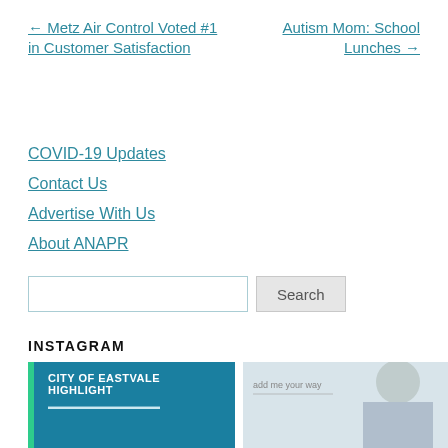← Metz Air Control Voted #1 in Customer Satisfaction
Autism Mom: School Lunches →
COVID-19 Updates
Contact Us
Advertise With Us
About ANAPR
Search
INSTAGRAM
[Figure (photo): City of Eastvale Highlight image with green sidebar and teal background]
[Figure (photo): Photo of a person on a light blue/grey background]